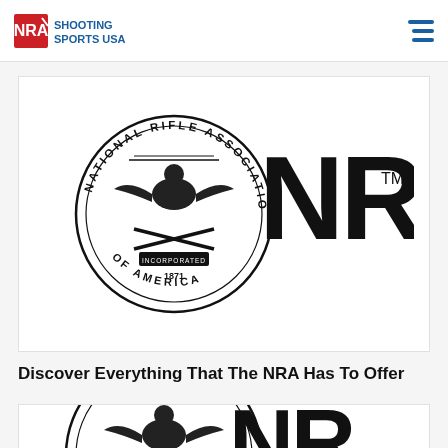NRA Shooting Sports USA
[Figure (logo): NRA National Rifle Association of America circular seal logo alongside large bold NRA text with TM mark]
Discover Everything That The NRA Has To Offer
[Figure (logo): Partial NRA National Rifle Association of America circular seal logo alongside partial NRA text, cropped at bottom of page]